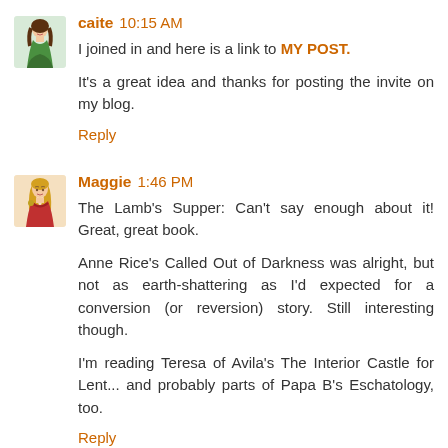[Figure (illustration): Avatar of user caite - woman in green dress illustration]
caite 10:15 AM
I joined in and here is a link to MY POST.

It's a great idea and thanks for posting the invite on my blog.
Reply
[Figure (illustration): Avatar of user Maggie - woman in red/pink dress illustration]
Maggie 1:46 PM
The Lamb's Supper: Can't say enough about it! Great, great book.

Anne Rice's Called Out of Darkness was alright, but not as earth-shattering as I'd expected for a conversion (or reversion) story. Still interesting though.

I'm reading Teresa of Avila's The Interior Castle for Lent... and probably parts of Papa B's Eschatology, too.
Reply